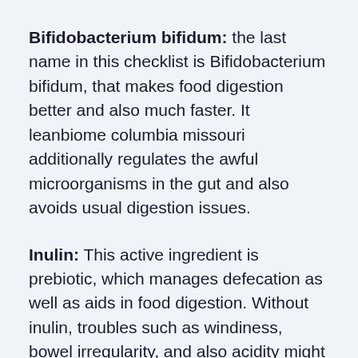Bifidobacterium bifidum: the last name in this checklist is Bifidobacterium bifidum, that makes food digestion better and also much faster. It leanbiome columbia missouri additionally regulates the awful microorganisms in the gut and also avoids usual digestion issues.
Inulin: This active ingredient is prebiotic, which manages defecation as well as aids in food digestion. Without inulin, troubles such as windiness, bowel irregularity, and also acidity might show up, making food digestion uncomfortable. In addition to that, inulin helps in the growth and spread of probiotic microorganisms and also contributes alongside the microbes in intestine fl...